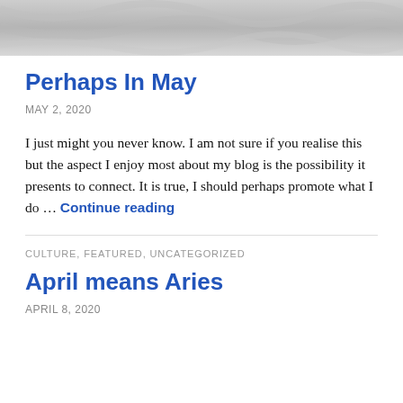[Figure (photo): Grayscale photo of crumpled or draped white fabric/sheets, cropped to show texture at the top of the page]
Perhaps In May
MAY 2, 2020
I just might you never know. I am not sure if you realise this but the aspect I enjoy most about my blog is the possibility it presents to connect. It is true, I should perhaps promote what I do … Continue reading
CULTURE, FEATURED, UNCATEGORIZED
April means Aries
APRIL 8, 2020